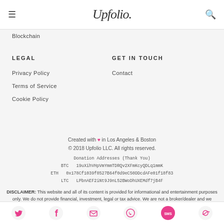Upfolio
Blockchain
LEGAL
GET IN TOUCH
Privacy Policy
Contact
Terms of Service
Cookie Policy
Created with ❤ in Los Angeles & Boston
© 2018 Upfolio LLC. All rights reserved.
Donation Addresses (Thank You)
BTC   19uXihVHpVmYmmTDRQv2XFmKcyQDLq1mmK
ETH   0x178Cf1039f8527B64f0d9eC50DDcdAFe01f18f83
LTC   LPbnAEF2iNt9J9nL52BWoDhUXEMdf7jB4F
DISCLAIMER: This website and all of its content is provided for informational and entertainment purposes only. We do not provide financial, investment, legal or tax advice. We are not a broker/dealer and we